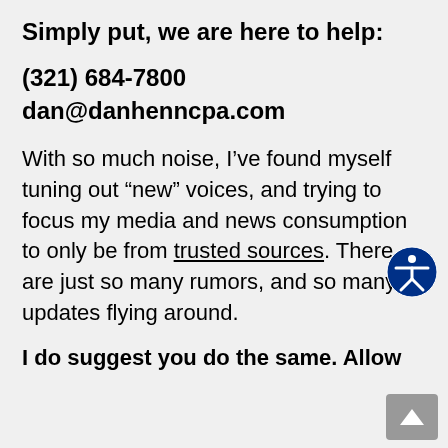Simply put, we are here to help:
(321) 684-7800
dan@danhenncpa.com
With so much noise, I’ve found myself tuning out “new” voices, and trying to focus my media and news consumption to only be from trusted sources. There are just so many rumors, and so many updates flying around.
I do suggest you do the same. Allow